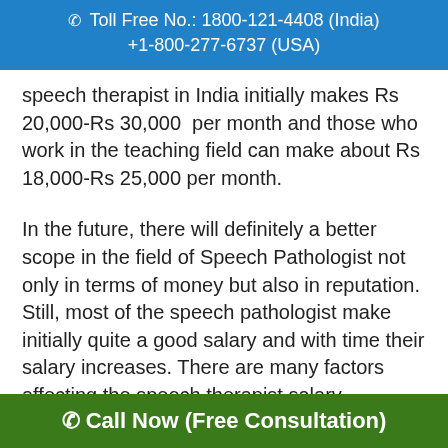Toll Free No.: 1800-121-4408 (India)
+1-800-277-6737 (USA)
speech therapist in India initially makes Rs 20,000-Rs 30,000  per month and those who work in the teaching field can make about Rs 18,000-Rs 25,000 per month.
In the future, there will definitely a better scope in the field of Speech Pathologist not only in terms of money but also in reputation. Still, most of the speech pathologist make initially quite a good salary and with time their salary increases. There are many factors affecting the speech therapist salary.
Factors affecting speech
Call Now (Free Consultation)